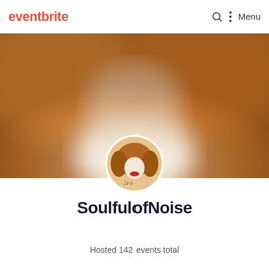eventbrite  Menu
[Figure (photo): Blurred brown tones hero banner image for SoulfulofNoise organizer profile page on Eventbrite]
[Figure (logo): SoulfulofNoise circular profile picture showing a silhouette with an afro hairstyle, red lips, and musical notes]
SoulfulofNoise
Hosted 142 events total